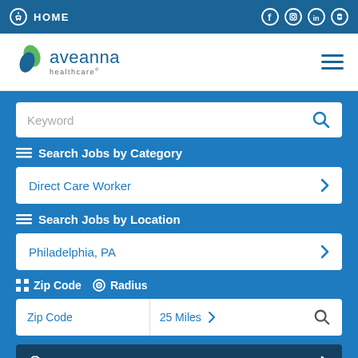HOME
[Figure (logo): Aveanna Healthcare logo with blue/green leaf icon and company name]
Keyword
Search Jobs by Category
Direct Care Worker
Search Jobs by Location
Philadelphia, PA
Zip Code    Radius
Zip Code    25 Miles
View All Jobs Near Me